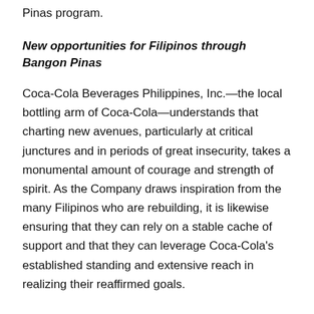Pinas program.
New opportunities for Filipinos through Bangon Pinas
Coca-Cola Beverages Philippines, Inc.—the local bottling arm of Coca-Cola—understands that charting new avenues, particularly at critical junctures and in periods of great insecurity, takes a monumental amount of courage and strength of spirit. As the Company draws inspiration from the many Filipinos who are rebuilding, it is likewise ensuring that they can rely on a stable cache of support and that they can leverage Coca-Cola's established standing and extensive reach in realizing their reaffirmed goals.
Bangon Pinas traces its roots to Balik Pinas, a CCBPI initiative that extended help to repatriated overseas Filipino workers whose careers had been disrupted due to the pandemic and the global crises that followed.